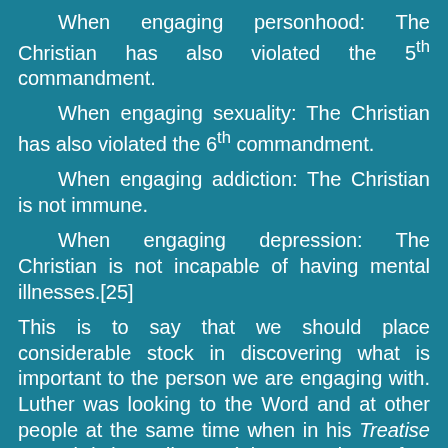When engaging personhood: The Christian has also violated the 5th commandment.
When engaging sexuality: The Christian has also violated the 6th commandment.
When engaging addiction: The Christian is not immune.
When engaging depression: The Christian is not incapable of having mental illnesses.[25]
This is to say that we should place considerable stock in discovering what is important to the person we are engaging with. Luther was looking to the Word and at other people at the same time when in his Treatise on Christian Liberty (The Freedom of a Christian): As he peered at Scripture, he knew he was a perfectly free lord of all, subject to none; and as he peered at people -- having been enlightened through Scripture -- he knew he was a perfectly